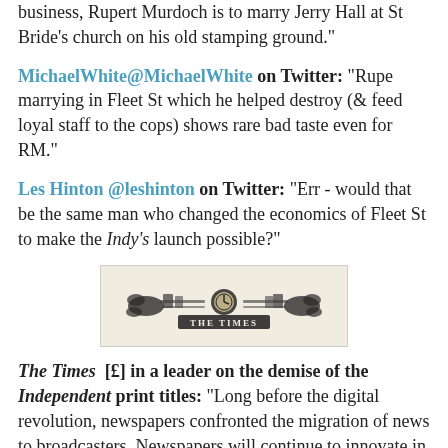business, Rupert Murdoch is to marry Jerry Hall at St Bride's church on his old stamping ground."
MichaelWhite@MichaelWhite on Twitter: "Rupe marrying in Fleet St which he helped destroy (& feed loyal staff to the cops) shows rare bad taste even for RM."
Les Hinton @leshinton on Twitter: "Err - would that be the same man who changed the economics of Fleet St to make the Indy's launch possible?"
[Figure (logo): The Times newspaper masthead/logo in ornate engraved style on beige background]
The Times [£] in a leader on the demise of the Independent print titles: "Long before the digital revolution, newspapers confronted the migration of news to broadcasters. Newspapers will continue to innovate in the face of the internet revolution and it is our belief that print will co-exist with digital for a long time to come. A loss of diversity in media voices is to be regretted but there is no reason for gloom about the future of newsprint."